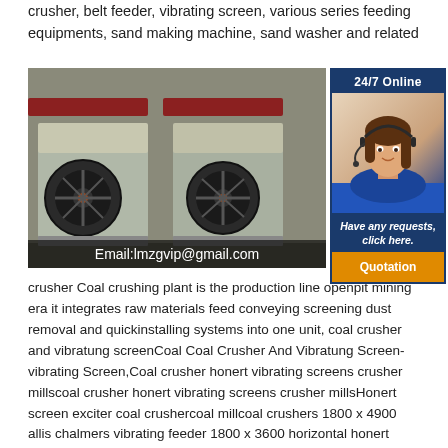crusher, belt feeder, vibrating screen, various series feeding equipments, sand making machine, sand washer and related
[Figure (photo): Two jaw crusher machines shown side by side in industrial setting, with email overlay 'Email:lmzgvip@gmail.com']
[Figure (infographic): 24/7 Online chat box with woman wearing headset, 'Have any requests, click here.' text and Quotation button]
Coal Vibrating vibra Coa coal crus pla crusher Coal crushing plant is the production line openpit mining era it integrates raw materials feed conveying screening dust removal and quickinstalling systems into one unit, coal crusher and vibratung screenCoal Coal Crusher And Vibratung Screen-vibrating Screen,Coal crusher honert vibrating screens crusher millscoal crusher honert vibrating screens crusher millsHonert screen exciter coal crushercoal millcoal crushers 1800 x 4900 allis chalmers vibrating feeder 1800 x 3600 horizontal honert